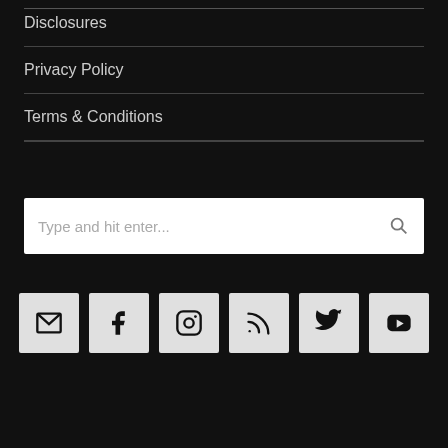Disclosures
Privacy Policy
Terms & Conditions
[Figure (other): Search box with placeholder text 'Type and hit enter...' and search icon]
[Figure (other): Row of 6 social media icon buttons: email, Facebook, Instagram, RSS, Twitter, YouTube]